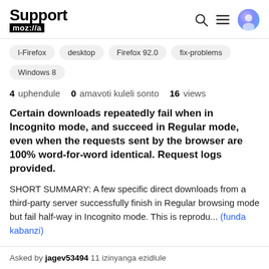Support moz://a
l-Firefox
desktop
Firefox 92.0
fix-problems
Windows 8
4 uphendule  0 amavoti kuleli sonto  16 views
Certain downloads repeatedly fail when in Incognito mode, and succeed in Regular mode, even when the requests sent by the browser are 100% word-for-word identical. Request logs provided.
SHORT SUMMARY: A few specific direct downloads from a third-party server successfully finish in Regular browsing mode but fail half-way in Incognito mode. This is reprodu... (funda kabanzi)
Asked by jagev53494 11 izinyanga ezidlule
Last reply by jscher2000 - Support Volunteer 11 izinyanga